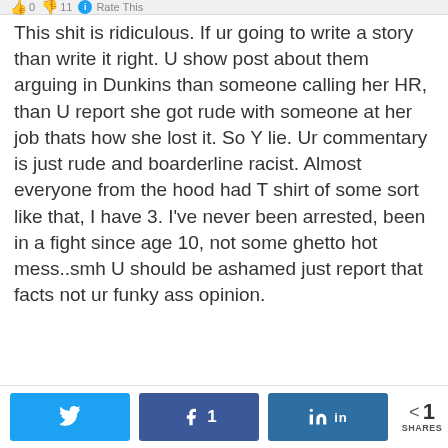This shit is ridiculous. If ur going to write a story than write it right. U show post about them arguing in Dunkins than someone calling her HR, than U report she got rude with someone at her job thats how she lost it. So Y lie. Ur commentary is just rude and boarderline racist. Almost everyone from the hood had T shirt of some sort like that, I have 3. I've never been arrested, been in a fight since age 10, not some ghetto hot mess..smh U should be ashamed just report that facts not ur funky ass opinion.
February 20, 2017 at 11:51 am
REPLY
14  0  Rate This
1 SHARES